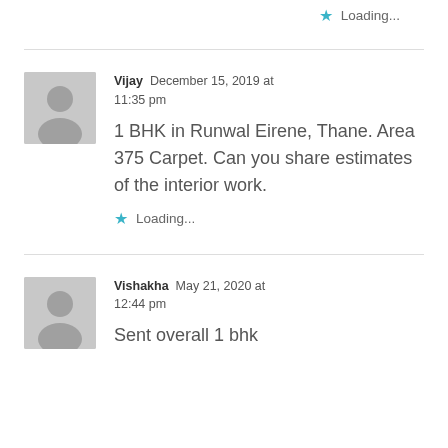★ Loading...
Vijay  December 15, 2019 at 11:35 pm
1 BHK in Runwal Eirene, Thane. Area 375 Carpet. Can you share estimates of the interior work.
★ Loading...
Vishakha  May 21, 2020 at 12:44 pm
Sent overall 1 bhk